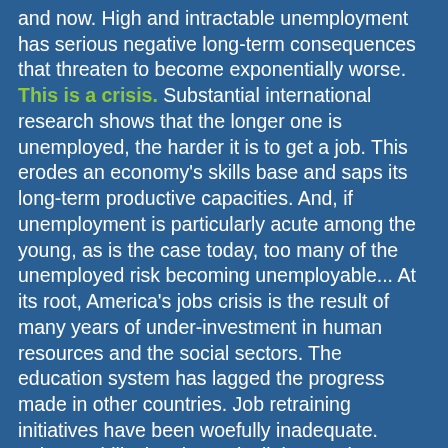and now. High and intractable unemployment has serious negative long-term consequences that threaten to become exponentially worse. This is a crisis. Substantial international research shows that the longer one is unemployed, the harder it is to get a job. This erodes an economy's skills base and saps its long-term productive capacities. And, if unemployment is particularly acute among the young, as is the case today, too many of the unemployed risk becoming unemployable... At its root, America's jobs crisis is the result of many years of under-investment in human resources and the social sectors. The education system has lagged the progress made in other countries. Job retraining initiatives have been woefully inadequate. Labor mobility has been declining. And insufficient attention has been devoted to maintaining an adequate social safety net. These realities were masked by the craziness that characterized America's pre-2008